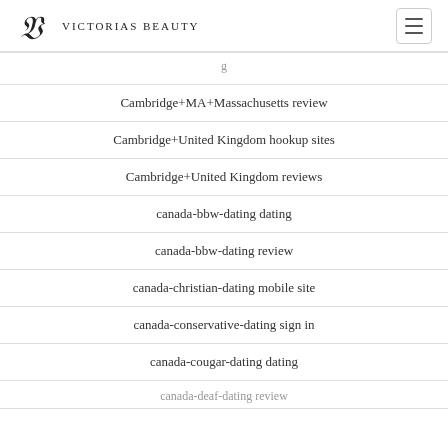Victorias Beauty
Cambridge+MA+Massachusetts review
Cambridge+United Kingdom hookup sites
Cambridge+United Kingdom reviews
canada-bbw-dating dating
canada-bbw-dating review
canada-christian-dating mobile site
canada-conservative-dating sign in
canada-cougar-dating dating
canada-deaf-dating review